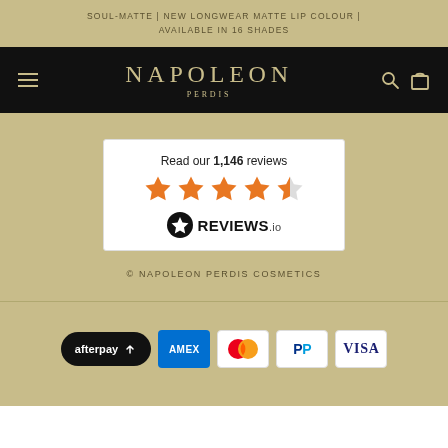SOUL-MATTE | NEW LONGWEAR MATTE LIP COLOUR | AVAILABLE IN 16 SHADES
[Figure (logo): Napoleon Perdis logo on black navigation bar with hamburger menu, search and cart icons]
[Figure (other): Reviews.io widget showing 'Read our 1,146 reviews' with 4.5 orange stars and Reviews.io logo]
© NAPOLEON PERDIS COSMETICS
[Figure (other): Payment method icons: Afterpay, American Express, Mastercard, PayPal, Visa]